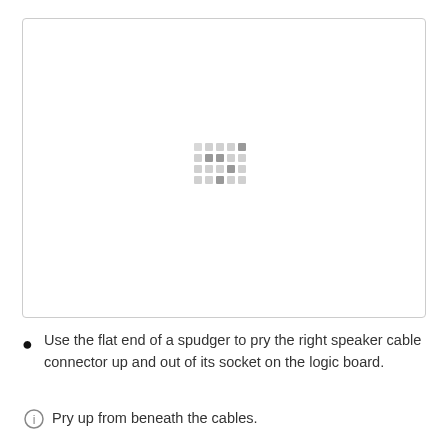[Figure (photo): A photo placeholder showing a loading/placeholder pattern of small grey dots arranged in a grid pattern at the center of a white rectangular area with a light grey border.]
Use the flat end of a spudger to pry the right speaker cable connector up and out of its socket on the logic board.
Pry up from beneath the cables.